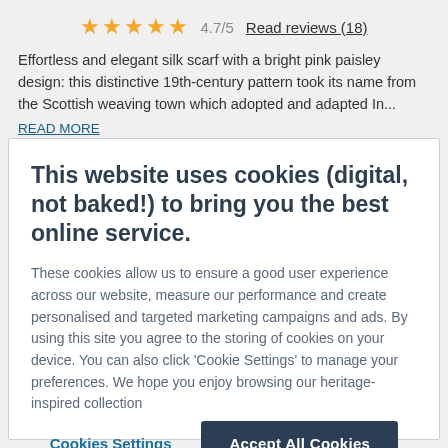★★★★★ 4.7/5 Read reviews (18)
Effortless and elegant silk scarf with a bright pink paisley design: this distinctive 19th-century pattern took its name from the Scottish weaving town which adopted and adapted In...
READ MORE
This website uses cookies (digital, not baked!) to bring you the best online service.
These cookies allow us to ensure a good user experience across our website, measure our performance and create personalised and targeted marketing campaigns and ads. By using this site you agree to the storing of cookies on your device. You can also click 'Cookie Settings' to manage your preferences. We hope you enjoy browsing our heritage-inspired collection
Cookies Settings
Accept All Cookies